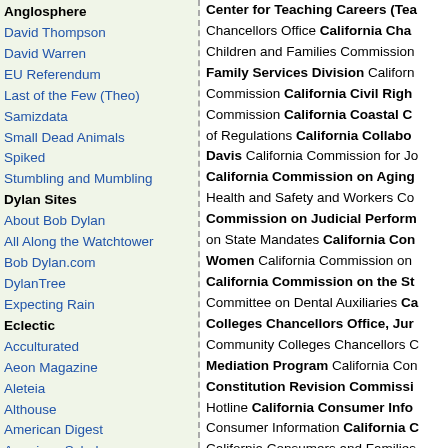Anglosphere
David Thompson
David Warren
EU Referendum
Last of the Few (Theo)
Samizdata
Small Dead Animals
Spiked
Stumbling and Mumbling
Dylan Sites
About Bob Dylan
All Along the Watchtower
Bob Dylan.com
DylanTree
Expecting Rain
Eclectic
Acculturated
Aeon Magazine
Aleteia
Althouse
American Digest
American Scholar
American Spectator
Assistant Village Idiot
Atlantic cities
Audubon Magazine
Big Think
Bon Appetit
Brain Pickings
Coyote Blog
Ephemeral New York
Forgotten New York
Fred On Everything
Free Range Kids
Gardening Know-How
Genesius Times
House of Eratosthenes
Center for Teaching Careers (Tea Chancellors Office California Cha Children and Families Commission Family Services Division Californ Commission California Civil Righ Commission California Coastal C of Regulations California Collabo Davis California Commission for Jo California Commission on Aging Health and Safety and Workers Co Commission on Judicial Perform on State Mandates California Con Women California Commission on California Commission on the St Committee on Dental Auxiliaries Ca Colleges Chancellors Office, Jur Community Colleges Chancellors C Mediation Program California Con Constitution Revision Commissi Hotline California Consumer Info Consumer Information California C California Consumers and Families Contractors State License Board Standards Authority California Co California Council on Criminal Just